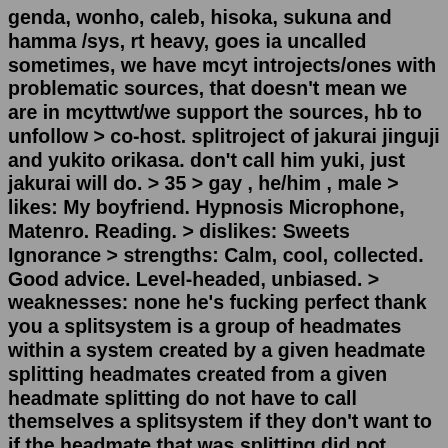genda, wonho, caleb, hisoka, sukuna and hamma /sys, rt heavy, goes ia uncalled sometimes, we have mcyt introjects/ones with problematic sources, that doesn't mean we are in mcyttwt/we support the sources, hb to unfollow > co-host. splitroject of jakurai jinguji and yukito orikasa. don't call him yuki, just jakurai will do. > 35 > gay , he/him , male > likes: My boyfriend. Hypnosis Microphone, Matenro. Reading. > dislikes: Sweets Ignorance > strengths: Calm, cool, collected. Good advice. Level-headed, unbiased. > weaknesses: none he's fucking perfect thank you a splitsystem is a group of headmates within a system created by a given headmate splitting headmates created from a given headmate splitting do not have to call themselves a splitsystem if they don't want to if the headmate that was splitting did not complete break up, they may or may not consider themself part of the splitsystemI'm a nonhuman (demon) splitroject of click here. I consider myself pretty close to most of my sources. I don't care if you're also a fictive of anyone I a fictive of. It doesn't bother me and I won't end